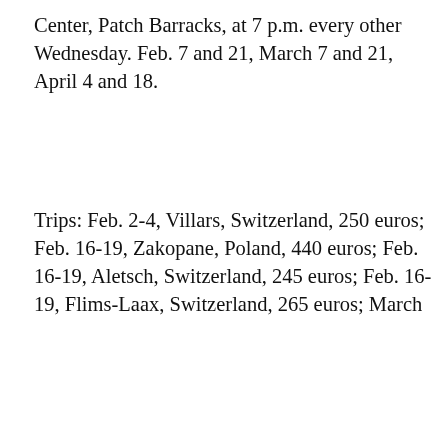Center, Patch Barracks, at 7 p.m. every other Wednesday. Feb. 7 and 21, March 7 and 21, April 4 and 18.
Trips: Feb. 2-4, Villars, Switzerland, 250 euros; Feb. 16-19, Zakopane, Poland, 440 euros; Feb. 16-19, Aletsch, Switzerland, 245 euros; Feb. 16-19, Flims-Laax, Switzerland, 265 euros; March
[Figure (screenshot): Advertisement banner for Commissary Click2Go service showing a green circular logo with '2GO' text and a Commissary medallion logo on a blue gradient background with text 'order groceries' and 'PICKUP' partially visible]
Articles left: 4
Subscribe to get unlimited access Subscribe
Already have an account? Login here